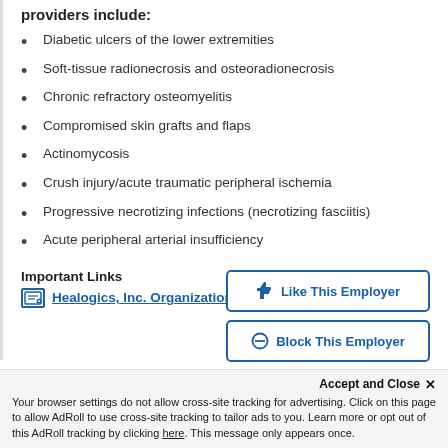providers include:
Diabetic ulcers of the lower extremities
Soft-tissue radionecrosis and osteoradionecrosis
Chronic refractory osteomyelitis
Compromised skin grafts and flaps
Actinomycosis
Crush injury/acute traumatic peripheral ischemia
Progressive necrotizing infections (necrotizing fasciitis)
Acute peripheral arterial insufficiency
Important Links
Healogics, Inc. Organization Profile
Like This Employer
Block This Employer
Accept and Close ✕
Your browser settings do not allow cross-site tracking for advertising. Click on this page to allow AdRoll to use cross-site tracking to tailor ads to you. Learn more or opt out of this AdRoll tracking by clicking here. This message only appears once.